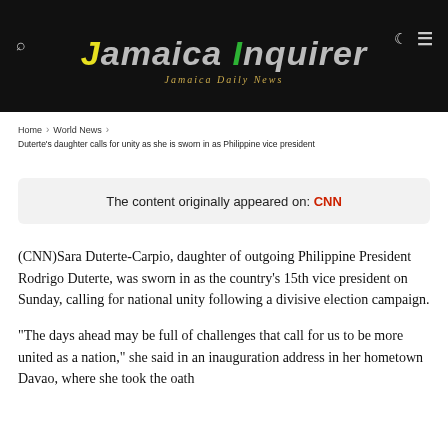[Figure (logo): Jamaica Inquirer logo with site title and tagline 'Jamaica Daily News' on black background]
Home › World News › Duterte's daughter calls for unity as she is sworn in as Philippine vice president
The content originally appeared on: CNN
(CNN)Sara Duterte-Carpio, daughter of outgoing Philippine President Rodrigo Duterte, was sworn in as the country's 15th vice president on Sunday, calling for national unity following a divisive election campaign.
"The days ahead may be full of challenges that call for us to be more united as a nation," she said in an inauguration address in her hometown Davao, where she took the oath